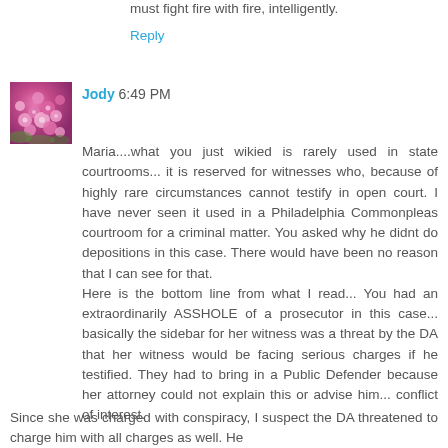must fight fire with fire, intelligently.
Reply
[Figure (photo): Avatar image of a pink flowering shrub/bush]
Jody 6:49 PM
Maria....what you just wikied is rarely used in state courtrooms... it is reserved for witnesses who, because of highly rare circumstances cannot testify in open court. I have never seen it used in a Philadelphia Commonpleas courtroom for a criminal matter. You asked why he didnt do depositions in this case. There would have been no reason that I can see for that.
Here is the bottom line from what I read... You had an extraordinarily ASSHOLE of a prosecutor in this case... basically the sidebar for her witness was a threat by the DA that her witness would be facing serious charges if he testified. They had to bring in a Public Defender because her attorney could not explain this or advise him... conflict of interest.
Since she was charged with conspiracy, I suspect the DA threatened to charge him with all charges as well. He